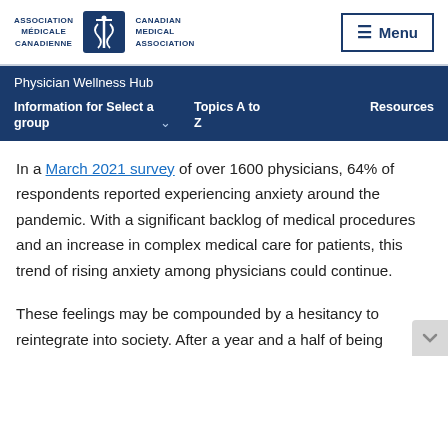Association Médicale Canadienne | Canadian Medical Association | Menu
Physician Wellness Hub
Information for Select a group | Topics A to Z | Resources
In a March 2021 survey of over 1600 physicians, 64% of respondents reported experiencing anxiety around the pandemic. With a significant backlog of medical procedures and an increase in complex medical care for patients, this trend of rising anxiety among physicians could continue.
These feelings may be compounded by a hesitancy to reintegrate into society. After a year and a half of being